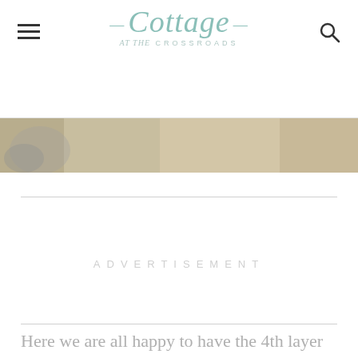Cottage at the Crossroads
[Figure (photo): Partial view of stones or rocks with sandy/mossy texture, cropped at top of content area]
ADVERTISEMENT
Here we are all happy to have the 4th layer of stones in place, along with the